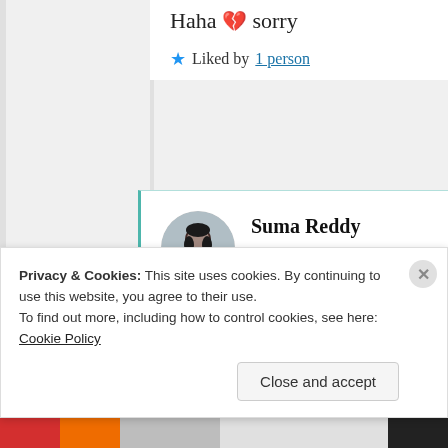Haha 💔 sorry
★ Liked by 1 person
Suma Reddy
15th Jun 2021 at 6:23 am
Broken hearts would bleed more love. 😉
Privacy & Cookies: This site uses cookies. By continuing to use this website, you agree to their use. To find out more, including how to control cookies, see here: Cookie Policy
Close and accept